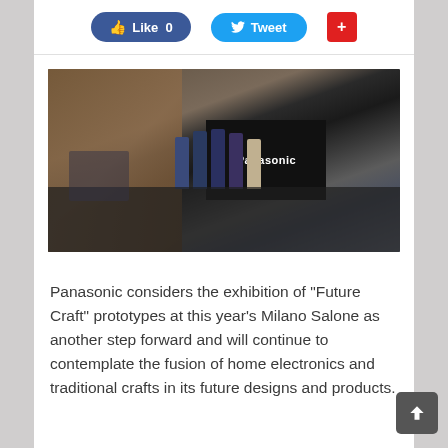[Figure (other): Social sharing bar with Facebook Like (0), Twitter Tweet, and Google Plus buttons]
[Figure (photo): A Panasonic event presentation at Milano Salone. People seated in audience watching presenters on a stage in front of a large black Panasonic sign. Setting appears to be an outdoor or semi-outdoor industrial space with brick walls.]
Panasonic considers the exhibition of “Future Craft” prototypes at this year’s Milano Salone as another step forward and will continue to contemplate the fusion of home electronics and traditional crafts in its future designs and products.